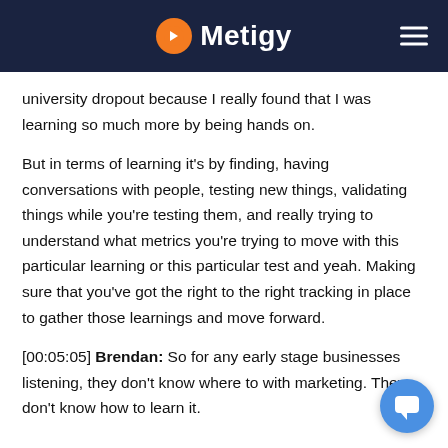Metigy
university dropout because I really found that I was learning so much more by being hands on.
But in terms of learning it's by finding, having conversations with people, testing new things, validating things while you're testing them, and really trying to understand what metrics you're trying to move with this particular learning or this particular test and yeah. Making sure that you've got the right to the right tracking in place to gather those learnings and move forward.
[00:05:05] Brendan: So for any early stage businesses listening, they don't know where to with marketing. They don't know how to learn it.